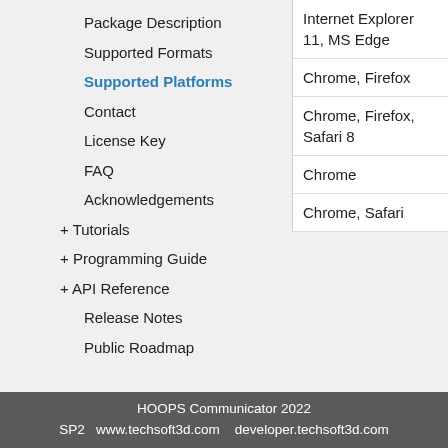Package Description
Supported Formats
Supported Platforms
Contact
License Key
FAQ
Acknowledgements
+ Tutorials
+ Programming Guide
+ API Reference
Release Notes
Public Roadmap
| Internet Explorer 11, MS Edge |
| Chrome, Firefox |
| Chrome, Firefox, Safari 8 |
| Chrome |
| Chrome, Safari |
HOOPS Communicator 2022 SP2   www.techsoft3d.com   developer.techsoft3d.com